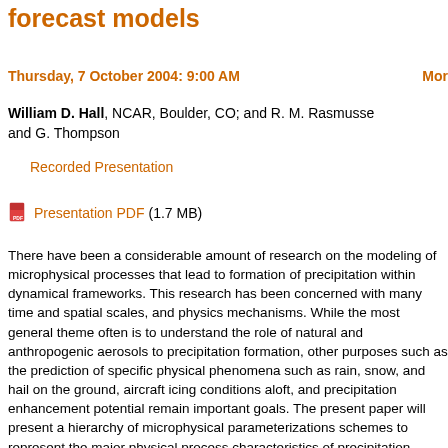forecast models
Thursday, 7 October 2004: 9:00 AM    More
William D. Hall, NCAR, Boulder, CO; and R. M. Rasmussen and G. Thompson
Recorded Presentation
Presentation PDF (1.7 MB)
There have been a considerable amount of research on the modeling of microphysical processes that lead to formation of precipitation within dynamical frameworks. This research has been concerned with many time and spatial scales, and physics mechanisms. While the most general theme often is to understand the role of natural and anthropogenic aerosols to precipitation formation, other purposes such as the prediction of specific physical phenomena such as rain, snow, and hail on the ground, aircraft icing conditions aloft, and precipitation enhancement potential remain important goals. The present paper will present a hierarchy of microphysical parameterizations schemes to represent the major physical process characteristics of precipitation development in wintertime mid-latitude storms. The present approach utilizes classical spectral functions to represent